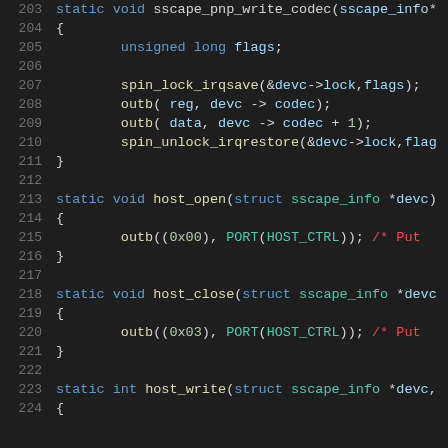[Figure (screenshot): Source code screenshot showing C function definitions (sscape_pnp_write_codec, host_open, host_close, host_write) with syntax highlighting on dark background. Line numbers 203-224 visible.]